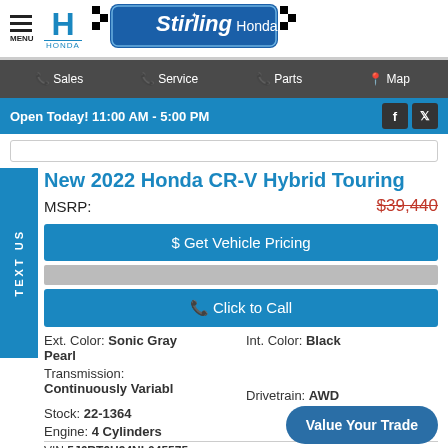MENU | HONDA | Stirling Honda
Sales | Service | Parts | Map
Open Today! 11:00 AM - 5:00 PM
New 2022 Honda CR-V Hybrid Touring
MSRP: $39,440
$ Get Vehicle Pricing
Click to Call
Ext. Color: Sonic Gray Pearl
Int. Color: Black
Transmission: Continuously Variable
Drivetrain: AWD
Stock: 22-1364
Engine: 4 Cylinders
VIN: 5J6RT6H94NL045575